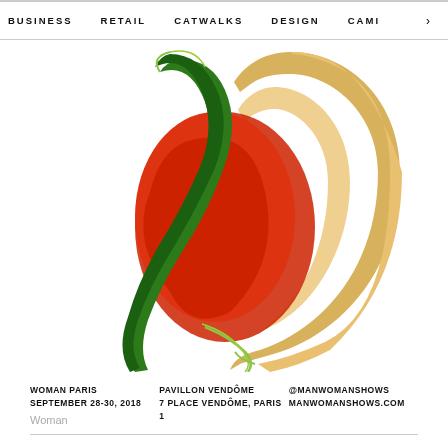BUSINESS   RETAIL   CATWALKS   DESIGN   CAMI  >
[Figure (illustration): Abstract colorful illustration with intertwined organic shapes in green, red/orange, and yellow/golden colors on white background, resembling a stylized logo or artwork for Man Woman Shows]
WOMAN PARIS
SEPTEMBER 28-30, 2018

PAVILLON VENDÔME
7 PLACE VENDÔME, PARIS 1

@MANWOMANSHOWS
MANWOMANSHOWS.COM
Woman
For the forthcoming September session in Paris, the Woman show is instead focusing on labels that are sticking to the traditional calendar, presenting two main